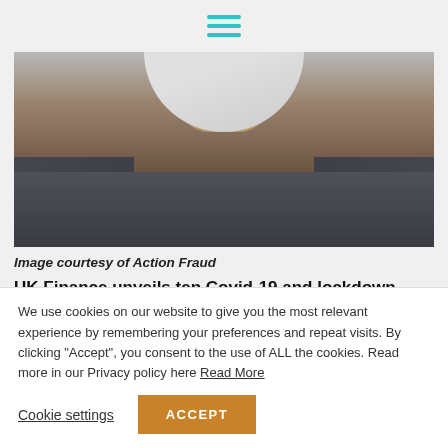hamburger menu icon
[Figure (photo): Person wearing a white face mask, shown from shoulders up, wearing a dark jacket. Background is grey. Image courtesy of Action Fraud.]
Image courtesy of Action Fraud
UK Finance unveils ten Covid-19 and lockdown scams the public should be on high alert for and how to spot them
Criminals are preying on a worried public by tapping into
We use cookies on our website to give you the most relevant experience by remembering your preferences and repeat visits. By clicking "Accept", you consent to the use of ALL the cookies. Read more in our Privacy policy here Read More
Cookie settings   ACCEPT